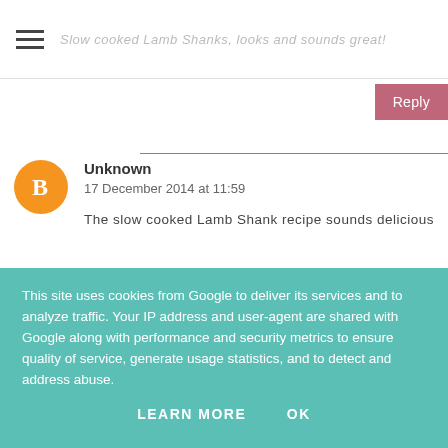Slow cooked Lamb Shanks, looks and sounds great!
Reply
Unknown
17 December 2014 at 11:59
The slow cooked Lamb Shank recipe sounds delicious
Reply
This site uses cookies from Google to deliver its services and to analyze traffic. Your IP address and user-agent are shared with Google along with performance and security metrics to ensure quality of service, generate usage statistics, and to detect and address abuse.
LEARN MORE   OK